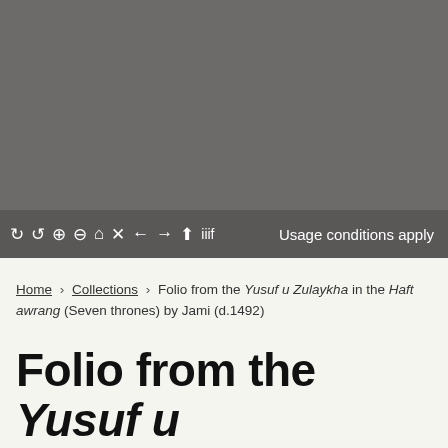[Figure (screenshot): Dark gray image viewer area showing a manuscript folio image (content obscured/loading)]
C ↺ 🔍 🔍 🏠 ✕ ← → ⬆ iiif   Usage conditions apply
Home > Collections > Folio from the Yusuf u Zulaykha in the Haft awrang (Seven thrones) by Jami (d.1492)
Folio from the Yusuf u